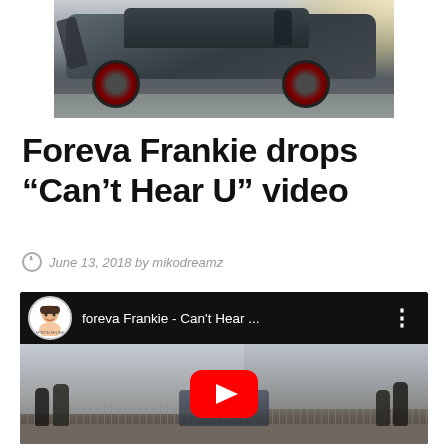[Figure (photo): Hero image of a dark Jeep SUV with red rims, partially door-open, with sunlight in background, parked on a street]
Foreva Frankie drops “Can’t Hear U” video
June 13, 2018 by mikodreamz
[Figure (screenshot): Embedded YouTube video thumbnail showing 'foreva Frankie - Can't Hear ...' with a red YouTube play button overlay. Scene shows group of people near a Jeep in an urban setting.]